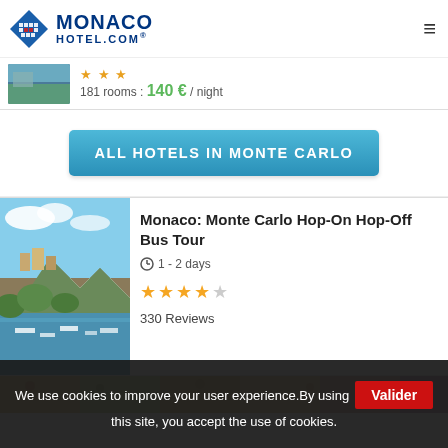MONACO HOTEL.COM
181 rooms : 140 € / night
ALL HOTELS IN MONTE CARLO
Monaco: Monte Carlo Hop-On Hop-Off Bus Tour
1 - 2 days
★★★★☆
330 Reviews
We use cookies to improve your user experience.By using this site, you accept the use of cookies. Valider